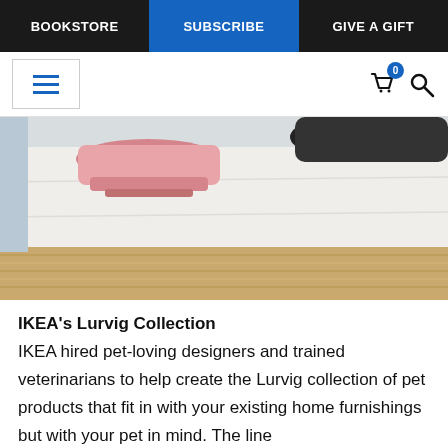BOOKSTORE | SUBSCRIBE | GIVE A GIFT
[Figure (screenshot): Navigation bar with hamburger menu icon on left, cart icon with badge showing 0, and search icon on right]
[Figure (photo): Close-up photo of a pink pet bowl on a white surface with a woven/rope textured base, partial dark bowl visible]
IKEA's Lurvig Collection
IKEA hired pet-loving designers and trained veterinarians to help create the Lurvig collection of pet products that fit in with your existing home furnishings but with your pet in mind. The line